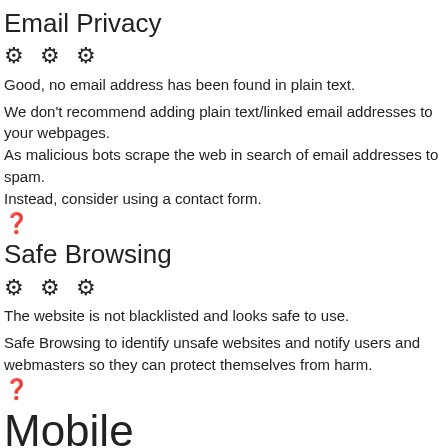Email Privacy
[Figure (infographic): Three gear/settings icons in a row indicating rating]
Good, no email address has been found in plain text.
We don't recommend adding plain text/linked email addresses to your webpages.
As malicious bots scrape the web in search of email addresses to spam.
Instead, consider using a contact form.
[Figure (infographic): Question mark circle icon]
Safe Browsing
[Figure (infographic): Three gear/settings icons in a row indicating rating]
The website is not blacklisted and looks safe to use.
Safe Browsing to identify unsafe websites and notify users and webmasters so they can protect themselves from harm.
[Figure (infographic): Question mark circle icon]
Mobile
Mobile Friendli...